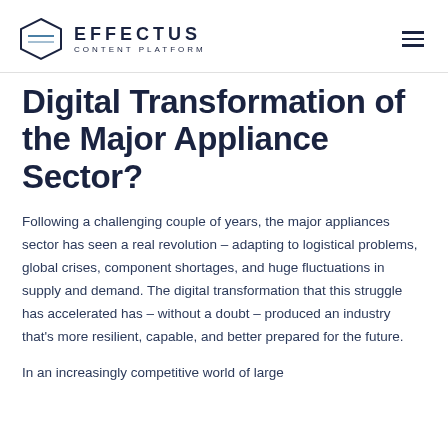EFFECTUS CONTENT PLATFORM
Digital Transformation of the Major Appliance Sector?
Following a challenging couple of years, the major appliances sector has seen a real revolution – adapting to logistical problems, global crises, component shortages, and huge fluctuations in supply and demand. The digital transformation that this struggle has accelerated has – without a doubt – produced an industry that's more resilient, capable, and better prepared for the future.
In an increasingly competitive world of large